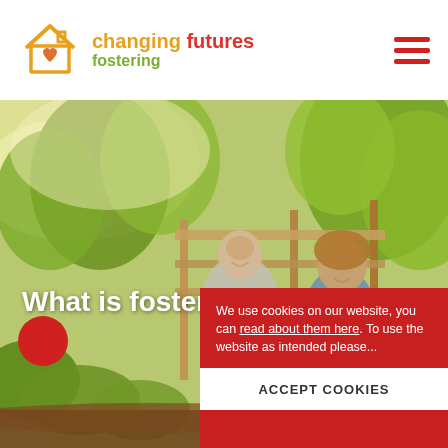[Figure (logo): Changing Futures Fostering logo: orange house outline with heart inside, text 'changing futures' in orange/red, 'fostering' in green]
What is fostering?
[Figure (photo): Adult man and teenage boy outdoors in nature, both smiling, trees and wooden bridge in background]
We use cookies on our website, you can read about them here. To use the website as intended please...
ACCEPT COOKIES